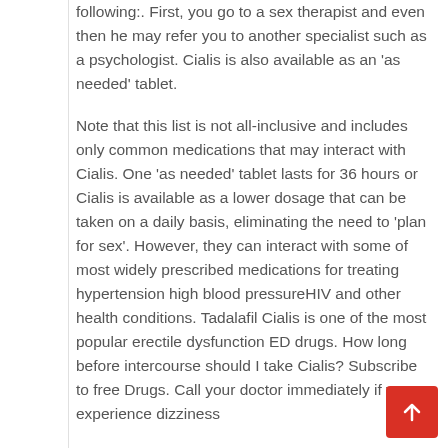following:. First, you go to a sex therapist and even then he may refer you to another specialist such as a psychologist. Cialis is also available as an 'as needed' tablet.
Note that this list is not all-inclusive and includes only common medications that may interact with Cialis. One 'as needed' tablet lasts for 36 hours or Cialis is available as a lower dosage that can be taken on a daily basis, eliminating the need to 'plan for sex'. However, they can interact with some of most widely prescribed medications for treating hypertension high blood pressureHIV and other health conditions. Tadalafil Cialis is one of the most popular erectile dysfunction ED drugs. How long before intercourse should I take Cialis? Subscribe to free Drugs. Call your doctor immediately if you experience dizziness